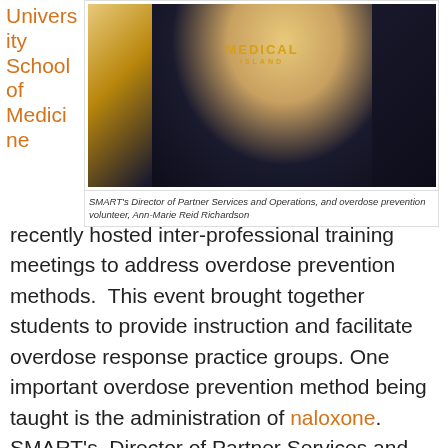University School of Medicine
[Figure (photo): Person wearing a dark navy shirt with 'MEDICAL ISLAND' text in gold lettering, standing in front of a golden backlit background.]
SMART's Director of Partner Services and Operations, and overdose prevention volunteer, Ann-Marie Reid Richardson
recently hosted inter-professional training meetings to address overdose prevention methods.  This event brought together students to provide instruction and facilitate overdose response practice groups. One important overdose prevention method being taught is the administration of naloxone.
SMART's  Director of Partner Services and